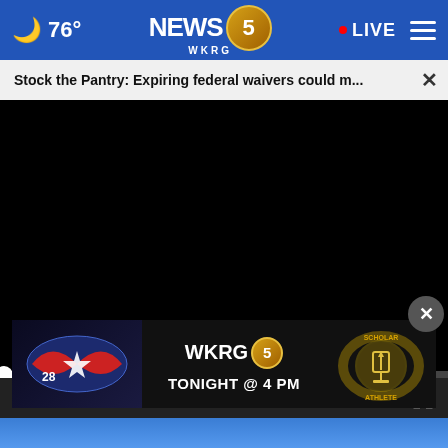76° NEWS 5 WKRG · LIVE
Stock the Pantry: Expiring federal waivers could m...
[Figure (screenshot): Black video player area with progress bar and playback controls showing 00:00]
[Figure (screenshot): WKRG 5 Scholar Athlete ad banner with logo and text TONIGHT @ 4 PM]